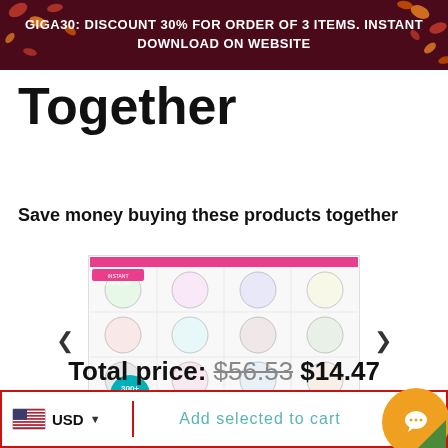GIGA30: DISCOUNT 30% FOR ORDER OF 3 ITEMS. INSTANT DOWNLOAD ON WEBSITE
Together
Save money buying these products together
[Figure (photo): Product image: Bundle Starbucks Wrap SVG with 300+ files, instant download, showing various Starbucks cup wrap designs]
Total price: $56.53  $14.47
USD  Add selected to cart